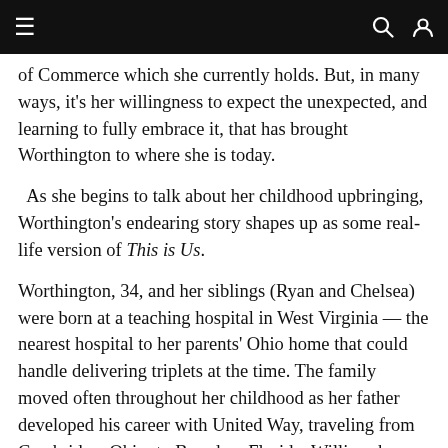navigation bar with hamburger menu, search and user icons
of Commerce which she currently holds. But, in many ways, it's her willingness to expect the unexpected, and learning to fully embrace it, that has brought Worthington to where she is today.
As she begins to talk about her childhood upbringing, Worthington's endearing story shapes up as some real-life version of This is Us.
Worthington, 34, and her siblings (Ryan and Chelsea) were born at a teaching hospital in West Virginia — the nearest hospital to her parents' Ohio home that could handle delivering triplets at the time. The family moved often throughout her childhood as her father developed his career with United Way, traveling from Cambridge, Ohio; to Brandon, Florida; Williamsburg, Virginia; and Nashville, Tennessee, before coming to Lakeland in 1997.
As a student at Santa Fe Catholic High School, about half of Worthington's classmates were from Winter Haven. Even her boyfriend at the time was from Winter Haven. After Worthington graduated with a degree from UCF's Rosen College of Hospitality